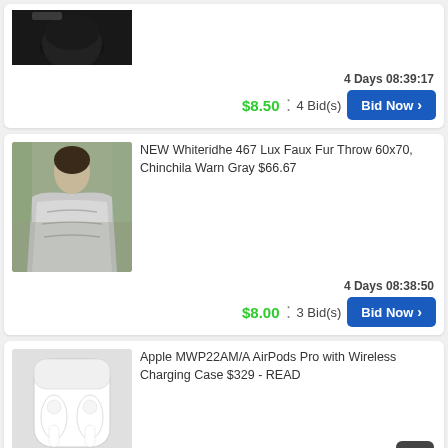[Figure (photo): Partial view of a dark/black speaker or Apple HomePod device on white surface]
4 Days 08:39:17
$8.50  :  4 Bid(s)
Bid Now
[Figure (photo): Woman wrapped in gray faux fur throw blanket sitting outdoors by water]
NEW Whiteridhe 467 Lux Faux Fur Throw 60x70, Chinchila Warn Gray $66.67
4 Days 08:38:50
$8.00  :  3 Bid(s)
Bid Now
[Figure (photo): Apple AirPods Pro in white charging case open, on light background]
Apple MWP22AM/A AirPods Pro with Wireless Charging Case $329 - READ
4 Days 08:38:23